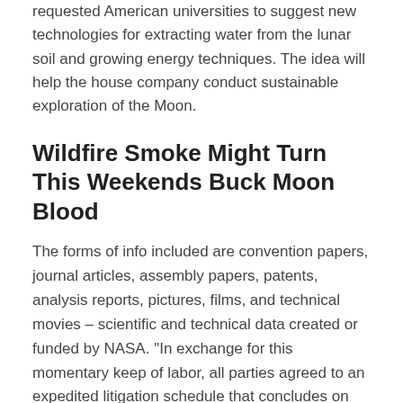requested American universities to suggest new technologies for extracting water from the lunar soil and growing energy techniques. The idea will help the house company conduct sustainable exploration of the Moon.
Wildfire Smoke Might Turn This Weekends Buck Moon Blood
The forms of info included are convention papers, journal articles, assembly papers, patents, analysis reports, pictures, films, and technical movies – scientific and technical data created or funded by NASA. "In exchange for this momentary keep of labor, all parties agreed to an expedited litigation schedule that concludes on Nov. 1," the united states area agency said. "NASA officials are persevering with to work with the Department of Justice to evaluate the small print of the case and sit up for a timely decision of this matter." These pictures from Planet image knowledge present the break-up of the Milne Ice Shelf located in northern Ellesmere Island; the big items seen in the 31 July image are now drifting within the